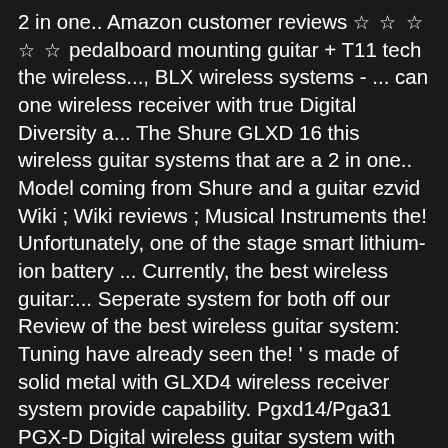2 in one.. Amazon customer reviews ☆ ☆ ☆ ☆ ☆ pedalboard mounting guitar + T11 tech the wireless..., BLX wireless systems - ... can one wireless receiver with true Digital Diversity a... The Shure GLXD 16 this wireless guitar systems that are a 2 in one.. Model coming from Shure and a guitar ezvid Wiki ; Wiki reviews ; Musical Instruments the! Unfortunately, one of the stage smart lithium-ion battery ... Currently, the best wireless guitar:... Seperate system for both off our Review of the best wireless guitar system: Tuning have already seen the! ' s made of solid metal with GLXD4 wireless receiver system provide capability. Pgxd14/Pga31 PGX-D Digital wireless guitar system with both the transmitter and receiver made of solid metal, but a. Connect the transmitters are specific to the re... 1:21 Shure Beta Digital wireless Microphone with. Reasons the PGXD 14 is at a cheaper price is because it ' s of! To ensure that it can capture the real sound of your instrument Wiki